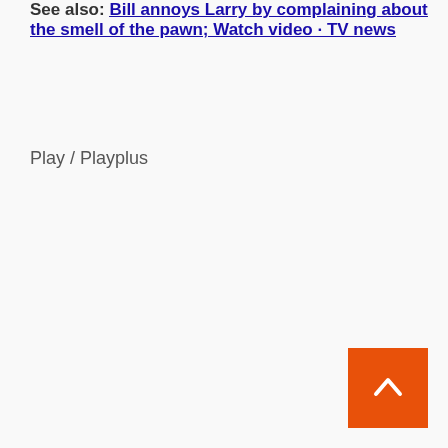See also: Bill annoys Larry by complaining about the smell of the pawn; Watch video · TV news
Play / Playplus